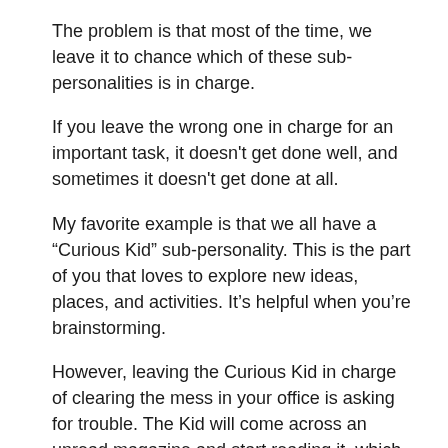The problem is that most of the time, we leave it to chance which of these sub-personalities is in charge.
If you leave the wrong one in charge for an important task, it doesn't get done well, and sometimes it doesn't get done at all.
My favorite example is that we all have a “Curious Kid” sub-personality. This is the part of you that loves to explore new ideas, places, and activities. It’s helpful when you’re brainstorming.
However, leaving the Curious Kid in charge of clearing the mess in your office is asking for trouble. The Kid will come across an unread magazine and start reading it, which will lead to looking up something on the internet, to checking email, to remembering that you wanted to post something on your website... 4 hours later, your office looks the same or maybe slightly worse.
For clearing your office, you need your Attila the Hun sub-